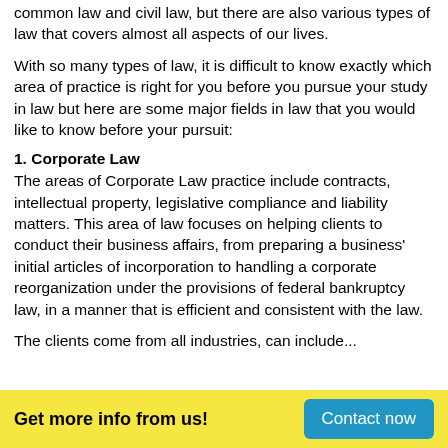common law and civil law, but there are also various types of law that covers almost all aspects of our lives.
With so many types of law, it is difficult to know exactly which area of practice is right for you before you pursue your study in law but here are some major fields in law that you would like to know before your pursuit:
1. Corporate Law
The areas of Corporate Law practice include contracts, intellectual property, legislative compliance and liability matters. This area of law focuses on helping clients to conduct their business affairs, from preparing a business' initial articles of incorporation to handling a corporate reorganization under the provisions of federal bankruptcy law, in a manner that is efficient and consistent with the law.
The clients come from all industries, can include...
Get more info from us! Contact now